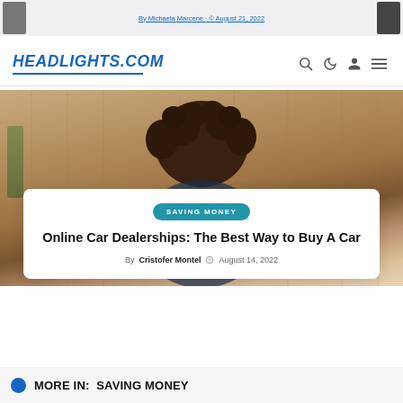[Figure (screenshot): Top strip with partially visible article thumbnail and blue link text (cut off at top)]
HEADLIGHTS.COM
[Figure (photo): Hero photograph showing back of person with curly hair against wood-panel background]
SAVING MONEY
Online Car Dealerships: The Best Way to Buy A Car
By Cristofer Montel  August 14, 2022
MORE IN:  SAVING MONEY